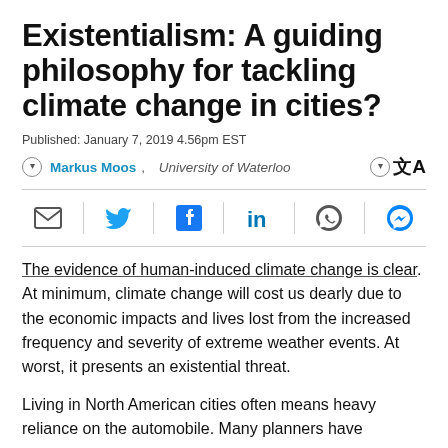Existentialism: A guiding philosophy for tackling climate change in cities?
Published: January 7, 2019 4.56pm EST
Markus Moos, University of Waterloo
The evidence of human-induced climate change is clear. At minimum, climate change will cost us dearly due to the economic impacts and lives lost from the increased frequency and severity of extreme weather events. At worst, it presents an existential threat.
Living in North American cities often means heavy reliance on the automobile. Many planners have